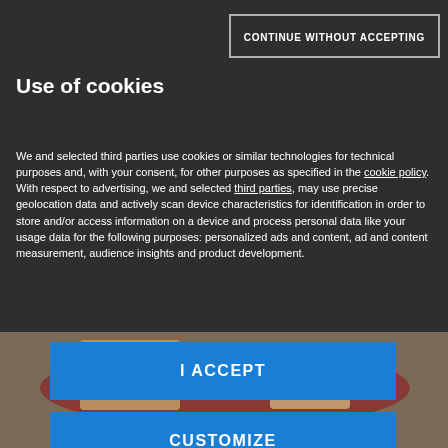[Figure (screenshot): Cookie consent dialog overlay on a Mondadori Media website. Dark background with cookie policy text, 'I ACCEPT' and 'CUSTOMIZE' buttons in blue, 'CONTINUE WITHOUT ACCEPTING' button outlined at top right. Mondadori Media logo at bottom of dialog. Background shows a food photo with cake/bread on a red plate.]
CONTINUE WITHOUT ACCEPTING
Use of cookies
We and selected third parties use cookies or similar technologies for technical purposes and, with your consent, for other purposes as specified in the cookie policy.
With respect to advertising, we and selected third parties, may use precise geolocation data and actively scan device characteristics for identification in order to store and/or access information on a device and process personal data like your usage data for the following purposes: personalized ads and content, ad and content measurement, audience insights and product development.
I ACCEPT
CUSTOMIZE
[Figure (logo): Mondadori Media logo — red arrow/triangle icon with 'MONDADORI MEDIA' text in black]